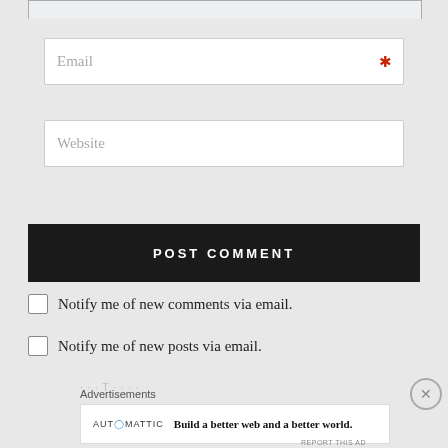[Figure (screenshot): Email input field with red asterisk required indicator]
[Figure (screenshot): Website input field]
[Figure (screenshot): POST COMMENT button, dark/black background with white text]
Notify me of new comments via email.
Notify me of new posts via email.
Advertisements
[Figure (logo): Automattic logo with tagline: Build a better web and a better world.]